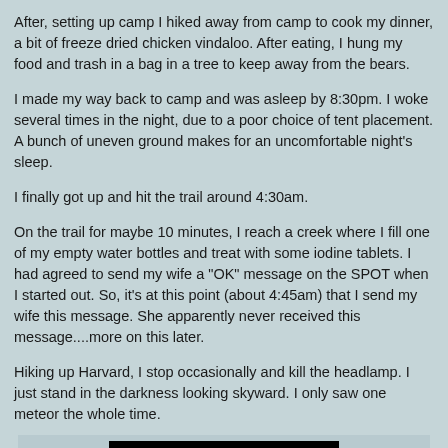After, setting up camp I hiked away from camp to cook my dinner, a bit of freeze dried chicken vindaloo.  After eating, I hung my food and trash in a bag in a tree to keep away from the bears.
I made my way back to camp and was asleep by 8:30pm.  I woke several times in the night, due to a poor choice of tent placement.  A bunch of uneven ground makes for an uncomfortable night's sleep.
I finally got up and hit the trail around 4:30am.
On the trail for maybe 10 minutes, I reach a creek where I fill one of my empty water bottles and treat with some iodine tablets.  I had agreed to send my wife a "OK" message on the SPOT when I started out.  So, it's at this point (about 4:45am) that I send my wife this message.  She apparently never received this message....more on this later.
Hiking up Harvard, I stop occasionally and kill the headlamp.  I just stand in the darkness looking skyward.  I only saw one meteor the whole time.
[Figure (photo): A very dark/black photograph of a night sky, with a single small bright dot (star or meteor) visible near the top center of the image.]